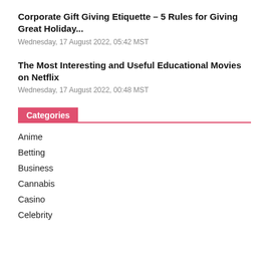Corporate Gift Giving Etiquette – 5 Rules for Giving Great Holiday...
Wednesday, 17 August 2022, 05:42 MST
The Most Interesting and Useful Educational Movies on Netflix
Wednesday, 17 August 2022, 00:48 MST
Categories
Anime
Betting
Business
Cannabis
Casino
Celebrity